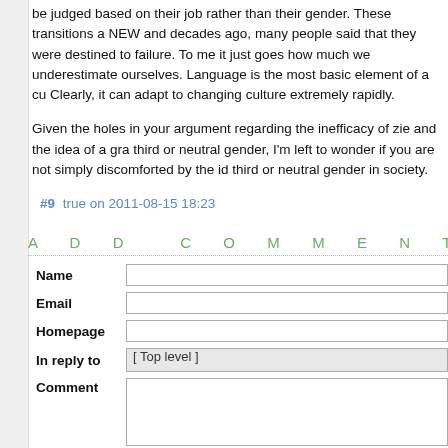be judged based on their job rather than their gender. These transitions a NEW and decades ago, many people said that they were destined to failure. To me it just goes how much we underestimate ourselves. Language is the most basic element of a cu Clearly, it can adapt to changing culture extremely rapidly.
Given the holes in your argument regarding the inefficacy of zie and the idea of a gra third or neutral gender, I'm left to wonder if you are not simply discomforted by the id third or neutral gender in society.
#9 true on 2011-08-15 18:23
ADD COMMENT
| Field | Input |
| --- | --- |
| Name |  |
| Email |  |
| Homepage |  |
| In reply to | [ Top level ] |
| Comment |  |